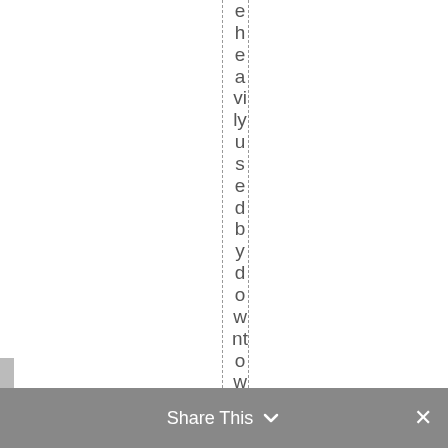e h e a vi ly us ed by do wn nt o w n w or ke rs d
Share This ×